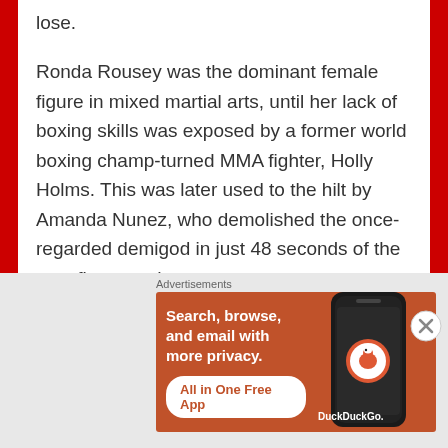lose.
Ronda Rousey was the dominant female figure in mixed martial arts, until her lack of boxing skills was exposed by a former world boxing champ-turned MMA fighter, Holly Holms. This was later used to the hilt by Amanda Nunez, who demolished the once-regarded demigod in just 48 seconds of the very first round.
The same spectacle will happen if and when McG enters the boxing ring with May. If May were to
[Figure (infographic): DuckDuckGo advertisement banner showing 'Search, browse, and email with more privacy. All in One Free App' with a phone graphic and DuckDuckGo logo on an orange-brown background.]